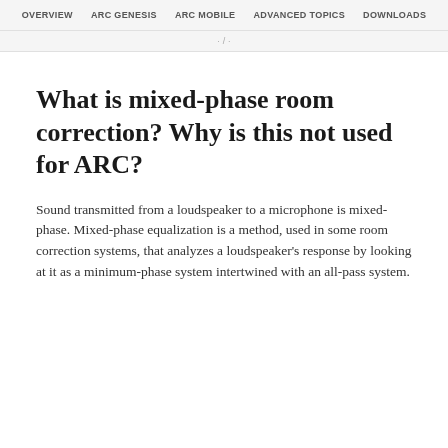OVERVIEW   ARC GENESIS   ARC MOBILE   ADVANCED TOPICS   DOWNLOADS
What is mixed-phase room correction? Why is this not used for ARC?
Sound transmitted from a loudspeaker to a microphone is mixed-phase. Mixed-phase equalization is a method, used in some room correction systems, that analyzes a loudspeaker's response by looking at it as a minimum-phase system intertwined with an all-pass system.